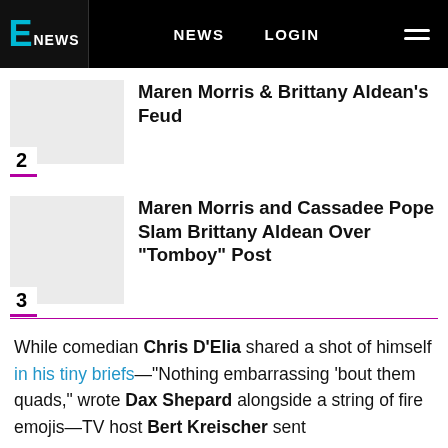E! NEWS  NEWS  LOGIN
2 Maren Morris & Brittany Aldean's Feud
3 Maren Morris and Cassadee Pope Slam Brittany Aldean Over "Tomboy" Post
While comedian Chris D'Elia shared a shot of himself in his tiny briefs—"Nothing embarrassing 'bout them quads," wrote Dax Shepard alongside a string of fire emojis—TV host Bert Kreischer sent